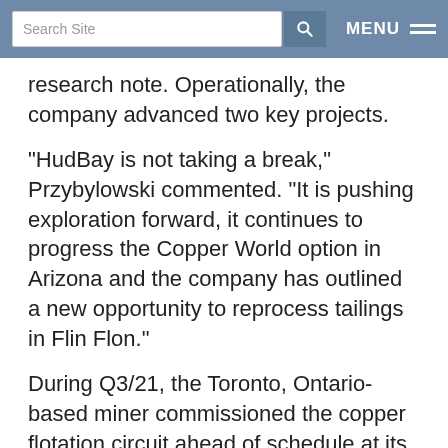Search Site | MENU
research note. Operationally, the company advanced two key projects.
"HudBay is not taking a break," Przybylowski commented. "It is pushing exploration forward, it continues to progress the Copper World option in Arizona and the company has outlined a new opportunity to reprocess tailings in Flin Flon."
During Q3/21, the Toronto, Ontario-based miner commissioned the copper flotation circuit ahead of schedule at its New Brittannia mill in Manitoba. in Also, it achieved full production at its Pampacancha mine in Peru